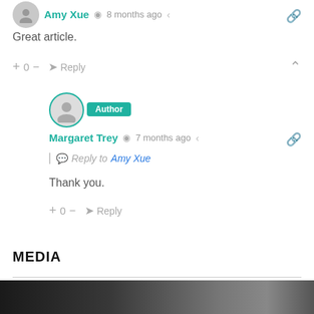[Figure (illustration): User avatar circle for Amy Xue, gray silhouette]
Amy Xue  8 months ago
Great article.
+ 0 −  Reply
[Figure (photo): Circular profile photo of Margaret Trey with teal border and Author badge]
Margaret Trey  7 months ago
Reply to Amy Xue
Thank you.
+ 0 −  Reply
MEDIA